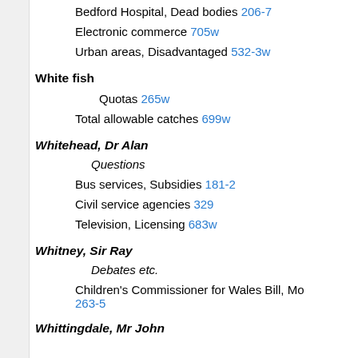Bedford Hospital, Dead bodies 206-7
Electronic commerce 705w
Urban areas, Disadvantaged 532-3w
White fish
Quotas 265w
Total allowable catches 699w
Whitehead, Dr Alan
Questions
Bus services, Subsidies 181-2
Civil service agencies 329
Television, Licensing 683w
Whitney, Sir Ray
Debates etc.
Children's Commissioner for Wales Bill, Mo 263-5
Whittingdale, Mr John